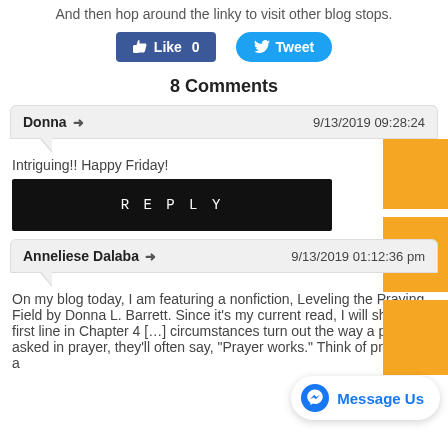And then hop around the linky to visit other blog stops.
[Figure (other): Facebook Like button (0 likes) and Twitter Tweet button]
8 Comments
Donna → 9/13/2019 09:28:24
Intriguing!! Happy Friday!
REPLY
Anneliese Dalaba → 9/13/2019 01:12:36 pm
On my blog today, I am featuring a nonfiction, Leveling the Praying Field by Donna L. Barrett. Since it's my current read, I will share the first line in Chapter 4 [...] circumstances turn out the way a person asked in prayer, they'll often say, "Prayer works." Think of prayer as a